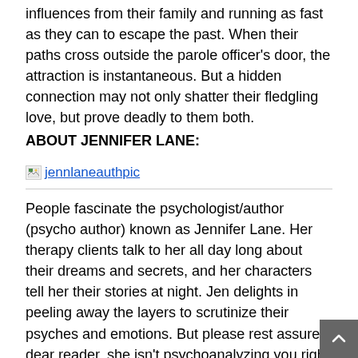influences from their family and running as fast as they can to escape the past. When their paths cross outside the parole officer’s door, the attraction is instantaneous. But a hidden connection may not only shatter their fledgling love, but prove deadly to them both.
ABOUT JENNIFER LANE:
[Figure (other): Broken image placeholder labeled 'jennlaneauthpic' with a link styled in blue underline text]
People fascinate the psychologist/author (psycho author) known as Jennifer Lane. Her therapy clients talk to her all day long about their dreams and secrets, and her characters tell her their stories at night. Jen delights in peeling away the layers to scrutinize their psyches and emotions. But please rest assured, dear reader, she isn’t psychoanalyzing you right now. She’s already got too many voices in her head!